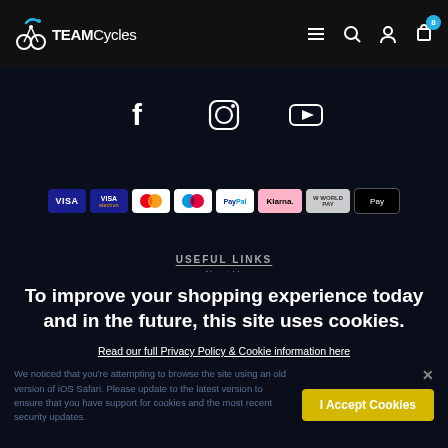[Figure (logo): TEAMCycles logo with cyclist icon and teal swoosh on dark navbar]
[Figure (infographic): Navigation icons: hamburger menu, search, user account, shopping cart with badge '8']
[Figure (infographic): Social media icons row: Facebook, Instagram, YouTube]
[Figure (infographic): Payment method icons: VISA, Visa Electron, Mastercard, Maestro, PayPal, Klarna, WorldPay, Apple Pay]
USEFUL LINKS
About Us
Our Brands
Our Blog
To improve your shopping experience today and in the future, this site uses cookies.
Read our full Privacy Policy & Cookie information here
We noticed that you're attempting to browse the site using an old version of iOS Safari. Please update to the latest version to ensure that you have support for cookies and the most recent security updates.
I Accept Cookies